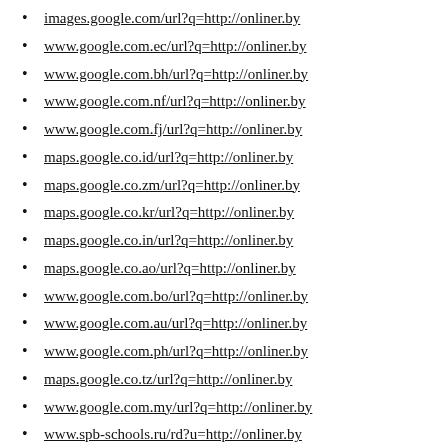images.google.com/url?q=http://onliner.by
www.google.com.ec/url?q=http://onliner.by
www.google.com.bh/url?q=http://onliner.by
www.google.com.nf/url?q=http://onliner.by
www.google.com.fj/url?q=http://onliner.by
maps.google.co.id/url?q=http://onliner.by
maps.google.co.zm/url?q=http://onliner.by
maps.google.co.kr/url?q=http://onliner.by
maps.google.co.in/url?q=http://onliner.by
maps.google.co.ao/url?q=http://onliner.by
www.google.com.bo/url?q=http://onliner.by
www.google.com.au/url?q=http://onliner.by
www.google.com.ph/url?q=http://onliner.by
maps.google.co.tz/url?q=http://onliner.by
www.google.com.my/url?q=http://onliner.by
www.spb-schools.ru/rd?u=http://onliner.by
maps.google.co.bw/url?q=http://onliner.by
www.google.com.tw/url?q=http://onliner.by
maps.google.co.nz/url?q=http://onliner.by